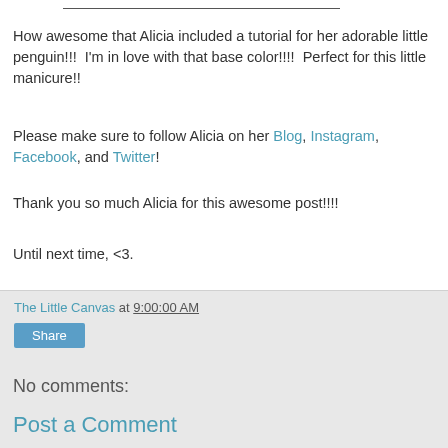How awesome that Alicia included a tutorial for her adorable little penguin!!!  I'm in love with that base color!!!!  Perfect for this little manicure!!
Please make sure to follow Alicia on her Blog, Instagram, Facebook, and Twitter!
Thank you so much Alicia for this awesome post!!!!
Until next time, <3.
The Little Canvas at 9:00:00 AM
Share
No comments:
Post a Comment